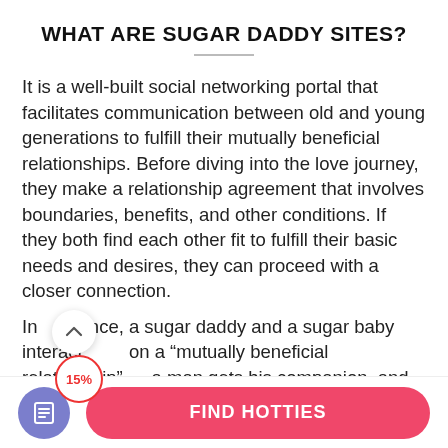WHAT ARE SUGAR DADDY SITES?
It is a well-built social networking portal that facilitates communication between old and young generations to fulfill their mutually beneficial relationships. Before diving into the love journey, they make a relationship agreement that involves boundaries, benefits, and other conditions. If they both find each other fit to fulfill their basic needs and desires, they can proceed with a closer connection.
In essence, a sugar daddy and a sugar baby interact based on a “mutually beneficial relationship” — a man gets his companion, and women will receive financial